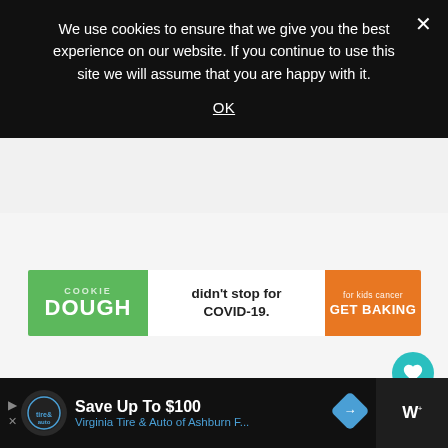We use cookies to ensure that we give you the best experience on our website. If you continue to use this site we will assume that you are happy with it.
OK
[Figure (screenshot): Advertisement banner: COOKIE DOUGH text on green background, 'didn't stop for COVID-19.' in white section, 'for kids cancer GET BAKING' on orange background]
[Figure (infographic): Heart/like button (teal circle with heart icon), count of 1, and share button (white circle with share icon)]
[Figure (infographic): What's Next arrow with Store Deals icon and text 'Grocery Store Deals: April ...']
[Figure (screenshot): Bottom advertisement bar: Virginia Tire & Auto logo, 'Save Up To $100', 'Virginia Tire & Auto of Ashburn F...' link, navigation icon, Walmart+ logo on dark background]